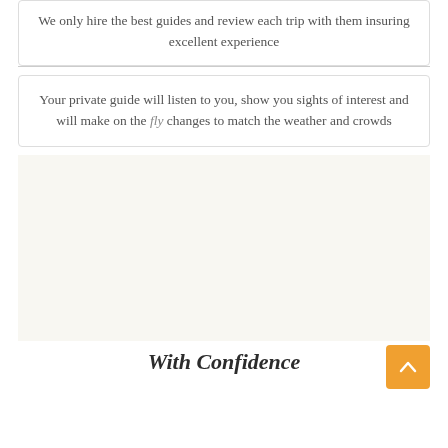We only hire the best guides and review each trip with them insuring excellent experience
Your private guide will listen to you, show you sights of interest and will make on the fly changes to match the weather and crowds
[Figure (illustration): Art Deco fan/palm leaf repeating pattern in dark navy blue and white, arranged in rows of overlapping semicircular fan shapes]
With Confidence